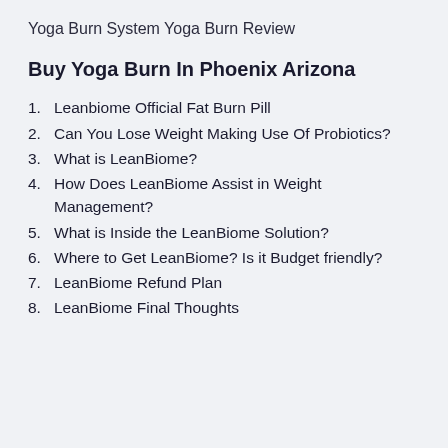Yoga Burn System Yoga Burn Review
Buy Yoga Burn In Phoenix Arizona
1. Leanbiome Official Fat Burn Pill
2. Can You Lose Weight Making Use Of Probiotics?
3. What is LeanBiome?
4. How Does LeanBiome Assist in Weight Management?
5. What is Inside the LeanBiome Solution?
6. Where to Get LeanBiome? Is it Budget friendly?
7. LeanBiome Refund Plan
8. LeanBiome Final Thoughts